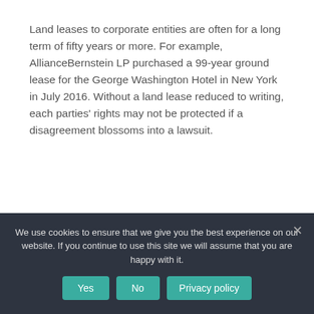Land leases to corporate entities are often for a long term of fifty years or more. For example, AllianceBernstein LP purchased a 99-year ground lease for the George Washington Hotel in New York in July 2016. Without a land lease reduced to writing, each parties' rights may not be protected if a disagreement blossoms into a lawsuit.
What are the names of land lease agreements?
We use cookies to ensure that we give you the best experience on our website. If you continue to use this site we will assume that you are happy with it.